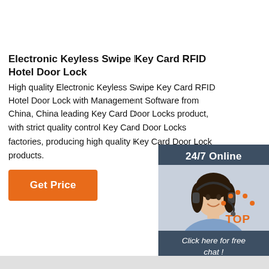Electronic Keyless Swipe Key Card RFID Hotel Door Lock
High quality Electronic Keyless Swipe Key Card RFID Hotel Door Lock with Management Software from China, China leading Key Card Door Locks product, with strict quality control Key Card Door Locks factories, producing high quality Key Card Door Lock products.
[Figure (infographic): Orange 'Get Price' button]
[Figure (infographic): Customer service chat widget with '24/7 Online' header, photo of woman with headset, 'Click here for free chat!' text and orange QUOTATION button]
[Figure (infographic): Orange 'TOP' button with dotted arc above text]